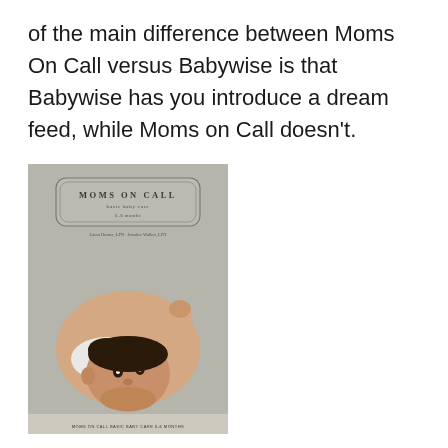of the main difference between Moms On Call versus Babywise is that Babywise has you introduce a dream feed, while Moms on Call doesn't.
[Figure (photo): Book cover of 'Moms On Call' showing a baby lying on its back looking at the camera, with a grey/neutral toned cover design.]
Moms on Call schedules have you follow the same routine from 4-8 weeks, but does suggest that you can move to the 8-16 week schedule as early as 6 weeks… if your baby is thriving and gaining